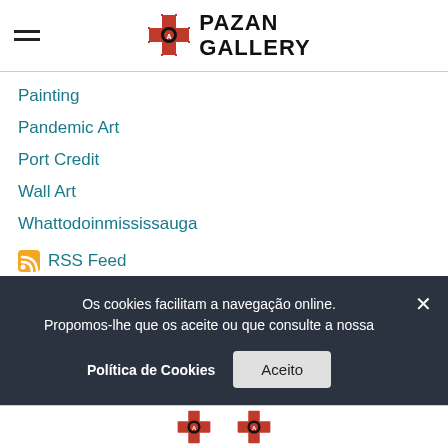Pazan Gallery
Painting
Pandemic Art
Port Credit
Wall Art
Whattodoinmississauga
RSS Feed
Os cookies facilitam a navegação online. Propomos-lhe que os aceite ou que consulte a nossa
Política de Cookies
Aceito